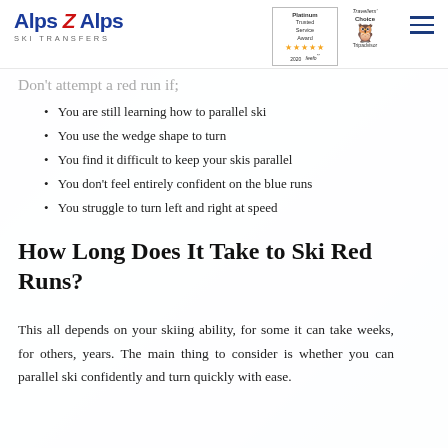Alps 2 Alps SKI TRANSFERS | Platinum Trusted Service Award 2020 feefo | Travellers' Choice Tripadvisor
slope before progressing.
Don't attempt a red run if;
You are still learning how to parallel ski
You use the wedge shape to turn
You find it difficult to keep your skis parallel
You don't feel entirely confident on the blue runs
You struggle to turn left and right at speed
How Long Does It Take to Ski Red Runs?
This all depends on your skiing ability, for some it can take weeks, for others, years. The main thing to consider is whether you can parallel ski confidently and turn quickly with ease.